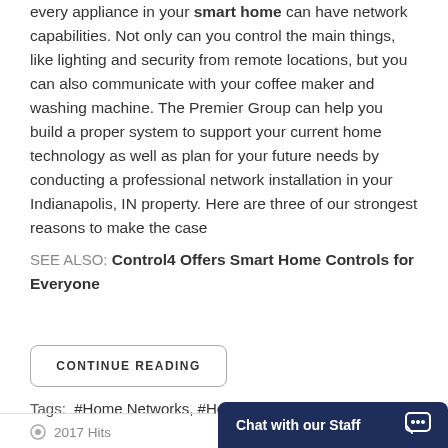every appliance in your smart home can have network capabilities. Not only can you control the main things, like lighting and security from remote locations, but you can also communicate with your coffee maker and washing machine. The Premier Group can help you build a proper system to support your current home technology as well as plan for your future needs by conducting a professional network installation in your Indianapolis, IN property. Here are three of our strongest reasons to make the case
SEE ALSO: Control4 Offers Smart Home Controls for Everyone
CONTINUE READING
Tags:  #Home Networks, #Home Automation
Chat with our Staff
2017 Hits